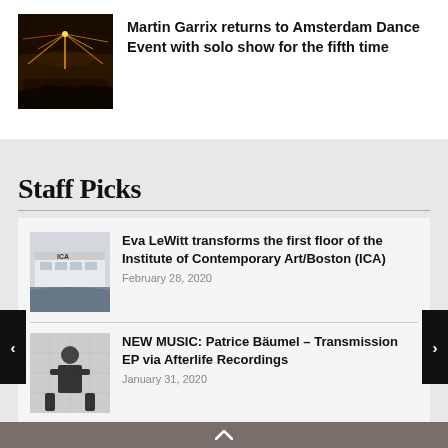[Figure (photo): Dark concert/event photo with colorful lights, possibly fireworks or lasers against dark background]
Martin Garrix returns to Amsterdam Dance Event with solo show for the fifth time
Staff Picks
[Figure (photo): Exterior of ICA building with signage visible]
Eva LeWitt transforms the first floor of the Institute of Contemporary Art/Boston (ICA)
February 28, 2020
[Figure (photo): Man in dark t-shirt with arms crossed against light background]
NEW MUSIC: Patrice Bäumel – Transmission EP via Afterlife Recordings
January 31, 2020